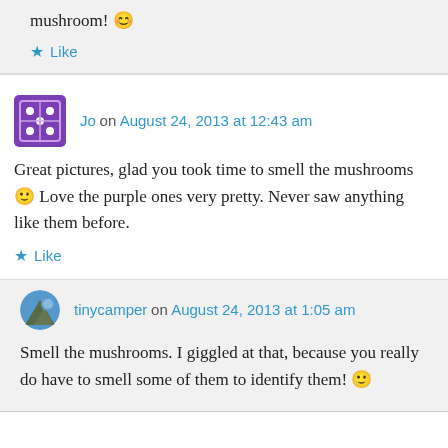mushroom! 😀
Like
Jo on August 24, 2013 at 12:43 am
Great pictures, glad you took time to smell the mushrooms 🙂 Love the purple ones very pretty. Never saw anything like them before.
Like
tinycamper on August 24, 2013 at 1:05 am
Smell the mushrooms. I giggled at that, because you really do have to smell some of them to identify them! 🙂